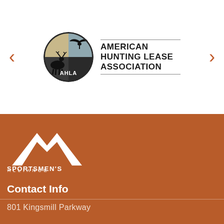[Figure (logo): American Hunting Lease Association (AHLA) logo: circular emblem with deer and bird silhouettes in tan and grey, with AHLA text, alongside bold text reading AMERICAN HUNTING LEASE ASSOCIATION]
[Figure (logo): Sportsmen's Alliance logo: white mountain/chevron mark above text SPORTSMEN'S ALLIANCE in white on burnt orange background]
Contact Info
801 Kingsmill Parkway